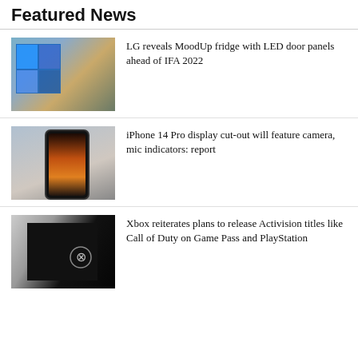Featured News
[Figure (photo): LG MoodUp refrigerator with colorful LED door panels in a kitchen setting]
LG reveals MoodUp fridge with LED door panels ahead of IFA 2022
[Figure (photo): iPhone 14 Pro showing lock screen with mountain sunset wallpaper at 4:00]
iPhone 14 Pro display cut-out will feature camera, mic indicators: report
[Figure (photo): Xbox console with Xbox logo on a dark background]
Xbox reiterates plans to release Activision titles like Call of Duty on Game Pass and PlayStation